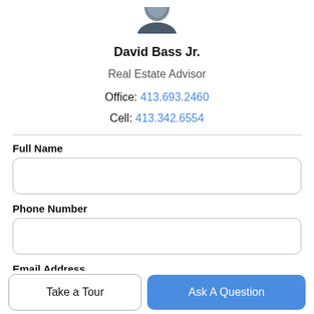[Figure (photo): Partial profile photo of David Bass Jr., cropped at top showing bottom of head/shoulders]
David Bass Jr.
Real Estate Advisor
Office: 413.693.2460
Cell: 413.342.6554
Full Name
Phone Number
Email Address
Take a Tour
Ask A Question